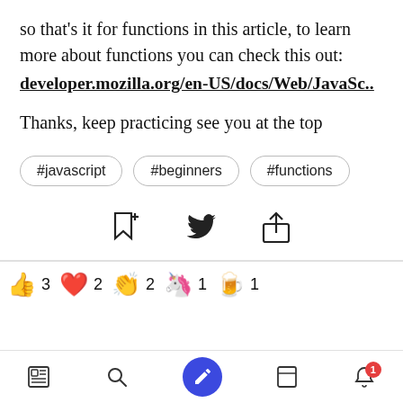so that's it for functions in this article, to learn more about functions you can check this out:
developer.mozilla.org/en-US/docs/Web/JavaSc..
Thanks, keep practicing see you at the top
#javascript
#beginners
#functions
[Figure (infographic): Social action icons: bookmark-add, Twitter bird, share/upload]
[Figure (infographic): Reaction emojis with counts: thumbs up 3, heart 2, clapping hands 2, unicorn 1, beer mug 1]
[Figure (infographic): Bottom navigation bar with icons: news feed, search, compose (blue FAB), bookmarks, notifications (badge 1)]